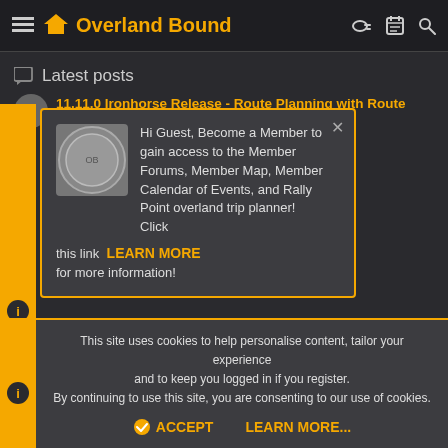Overland Bound
Latest posts
11.11.0 Ironhorse Release - Route Planning with Route Snapping
[Figure (screenshot): Popup modal with Overland Bound logo coin, close X button, and text: Hi Guest, Become a Member to gain access to the Member Forums, Member Map, Member Calendar of Events, and Rally Point overland trip planner! Click this link LEARN MORE for more information!]
This site uses cookies to help personalise content, tailor your experience and to keep you logged in if you register. By continuing to use this site, you are consenting to our use of cookies.
ACCEPT   LEARN MORE...